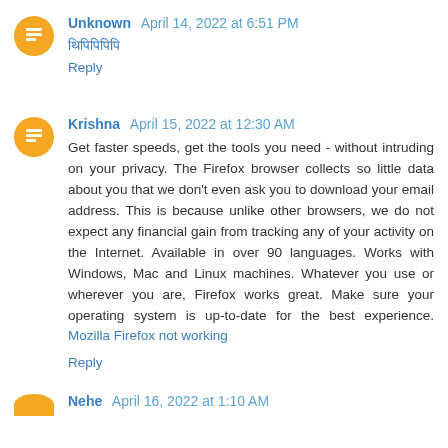Unknown  April 14, 2022 at 6:51 PM
थिपिपिपिपि
Reply
Krishna  April 15, 2022 at 12:30 AM
Get faster speeds, get the tools you need - without intruding on your privacy. The Firefox browser collects so little data about you that we don't even ask you to download your email address. This is because unlike other browsers, we do not expect any financial gain from tracking any of your activity on the Internet. Available in over 90 languages. Works with Windows, Mac and Linux machines. Whatever you use or wherever you are, Firefox works great. Make sure your operating system is up-to-date for the best experience. Mozilla Firefox not working
Reply
Nehe  April 16, 2022 at 1:10 AM